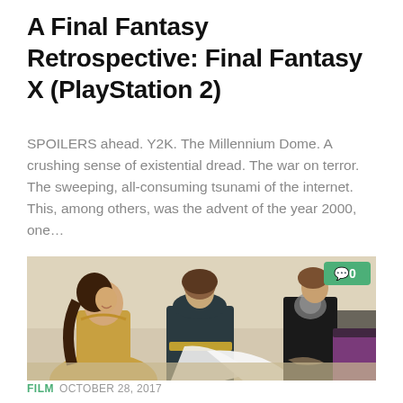A Final Fantasy Retrospective: Final Fantasy X (PlayStation 2)
SPOILERS ahead. Y2K. The Millennium Dome. A crushing sense of existential dread. The war on terror. The sweeping, all-consuming tsunami of the internet. This, among others, was the advent of the year 2000, one…
[Figure (photo): Three women in formal dresses posing on a beach. The leftmost woman wears a gold dress, the middle woman wears a dark strapless gown with a gold belt, and a third woman in a black top is partially visible on the right with another figure in a purple skirt.]
FILM OCTOBER 28, 2017